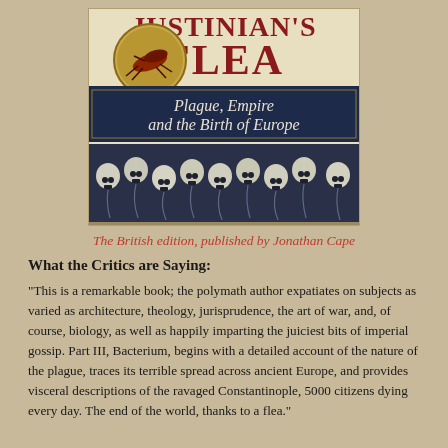[Figure (illustration): Book cover of 'Justinian's Flea: Plague, Empire and the Birth of Europe'. The cover shows large red text 'JUSTINIAN'S FLEA' at top, a circular medallion with a flea illustration at upper left, a dark navy banner reading 'Plague, Empire and the Birth of Europe' in italic serif text, and a bottom section filled with illustrated skulls and ghostly figures on a dark background.]
The British edition, published by Jonathan Cape
What the Critics are Saying:
"This is a remarkable book; the polymath author expatiates on subjects as varied as architecture, theology, jurisprudence, the art of war, and, of course, biology, as well as happily imparting the juiciest bits of imperial gossip. Part III, Bacterium, begins with a detailed account of the nature of the plague, traces its terrible spread across ancient Europe, and provides visceral descriptions of the ravaged Constantinople, 5000 citizens dying every day. The end of the world, thanks to a flea."